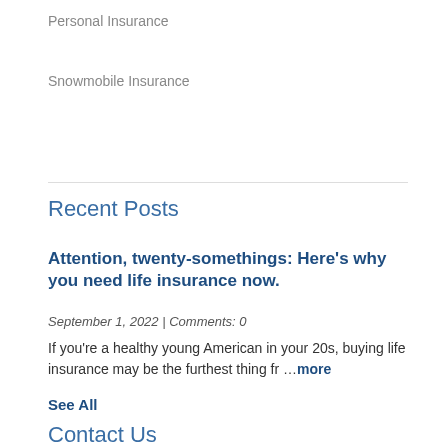Personal Insurance
Snowmobile Insurance
Recent Posts
Attention, twenty-somethings: Here's why you need life insurance now.
September 1, 2022 | Comments: 0
If you're a healthy young American in your 20s, buying life insurance may be the furthest thing fr …more
See All
Contact Us